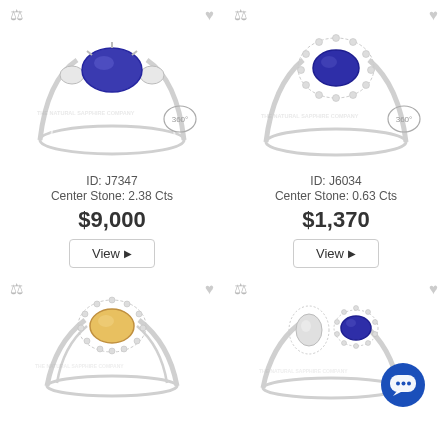[Figure (photo): Blue sapphire solitaire ring with diamond side stones in white gold, product ID J7347]
ID: J7347
Center Stone: 2.38 Cts
$9,000
View ▶
[Figure (photo): Blue sapphire halo ring surrounded by diamonds in white gold, product ID J6034]
ID: J6034
Center Stone: 0.63 Cts
$1,370
View ▶
[Figure (photo): Yellow sapphire halo ring with diamonds in white gold, lower left product]
[Figure (photo): Blue sapphire two-stone halo ring in white gold with chat bubble overlay, lower right product]